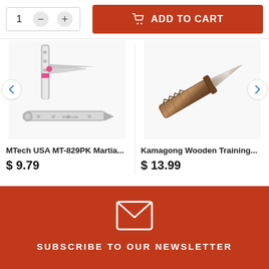[Figure (screenshot): Add to cart bar with quantity selector showing '1' and minus/plus buttons, and an orange 'ADD TO CART' button with cart icon]
[Figure (photo): MTech USA MT-829PK Martial Arts butterfly knife product image showing silver knife with pink accents, open and closed views]
MTech USA MT-829PK Martia...
$ 9.79
[Figure (photo): Kamagong Wooden Training knife product image showing wooden knife with brown wood grain handle and blade]
Kamagong Wooden Training...
$ 13.99
[Figure (infographic): Orange/brown newsletter signup section with envelope icon and 'SUBSCRIBE TO OUR NEWSLETTER' text]
SUBSCRIBE TO OUR NEWSLETTER